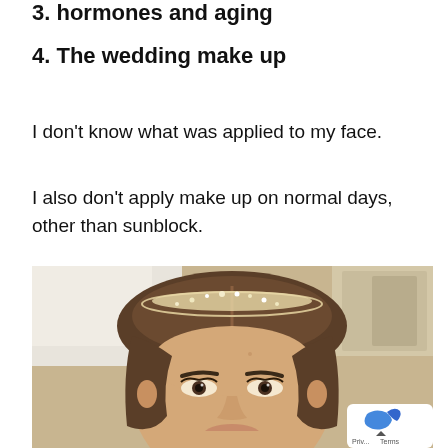3. hormones and aging
4. The wedding make up
I don't know what was applied to my face.
I also don't apply make up on normal days, other than sunblock.
[Figure (photo): Close-up photo of a woman's face wearing a sparkly tiara crown, with hair pulled back, taken indoors with kitchen cabinets visible in the background. A small privacy/terms badge is overlaid in the bottom right corner.]